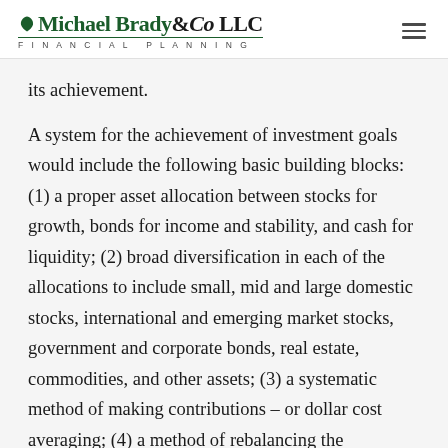Michael Brady & Co LLC Financial Planning
its achievement.
A system for the achievement of investment goals would include the following basic building blocks: (1) a proper asset allocation between stocks for growth, bonds for income and stability, and cash for liquidity; (2) broad diversification in each of the allocations to include small, mid and large domestic stocks, international and emerging market stocks, government and corporate bonds, real estate, commodities, and other assets; (3) a systematic method of making contributions – or dollar cost averaging; (4) a method of rebalancing the